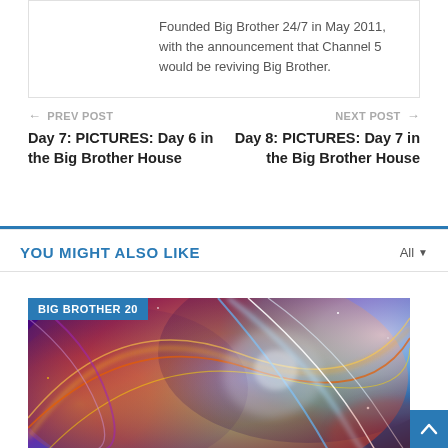Founded Big Brother 24/7 in May 2011, with the announcement that Channel 5 would be reviving Big Brother.
← PREV POST
Day 7: PICTURES: Day 6 in the Big Brother House
NEXT POST →
Day 8: PICTURES: Day 7 in the Big Brother House
YOU MIGHT ALSO LIKE
[Figure (photo): Colorful cosmic/space abstract image with swirling blues, oranges, purples and whites. Tagged with 'BIG BROTHER 20' badge.]